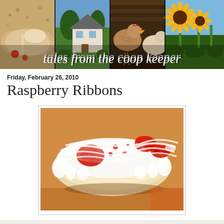[Figure (photo): Blog header banner with four photos showing food/grain close-up, a farmhouse, chickens in coop, and sunflowers in garden. Overlaid text reads 'tales from the coop keeper' in white handwritten font.]
Friday, February 26, 2010
Raspberry Ribbons
[Figure (photo): Close-up photo of raspberry ribbon pastry: a long pastry log glazed with white icing and topped with red raspberry jam in a lacy pattern, on a silicone baking mat.]